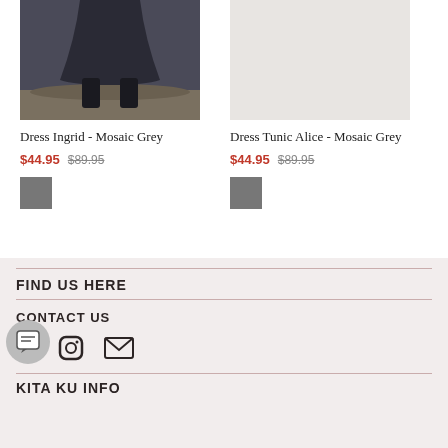[Figure (photo): Product photo of Dress Ingrid - Mosaic Grey, showing lower half of a dark grey dress with black boots on gravelly ground]
Dress Ingrid - Mosaic Grey
$44.95 $89.95
[Figure (other): Grey color swatch for Dress Ingrid - Mosaic Grey]
[Figure (photo): Product photo of Dress Tunic Alice - Mosaic Grey, light grey background, item partially visible]
Dress Tunic Alice - Mosaic Grey
$44.95 $89.95
[Figure (other): Grey color swatch for Dress Tunic Alice - Mosaic Grey]
FIND US HERE
CONTACT US
[Figure (other): Social media icons: Facebook, Instagram, Email]
KITA KU INFO